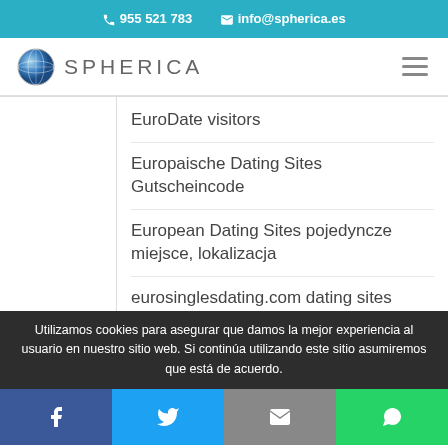955 521 783  info@spherica.es
[Figure (logo): Spherica logo with globe icon and text SPHERICA]
EuroDate visitors
Europaische Dating Sites Gutscheincode
European Dating Sites pojedyncze miejsce, lokalizacja
eurosinglesdating.com dating sites
Utilizamos cookies para asegurar que damos la mejor experiencia al usuario en nuestro sitio web. Si continúa utilizando este sitio asumiremos que está de acuerdo.
Facebook  Twitter  Email  WhatsApp